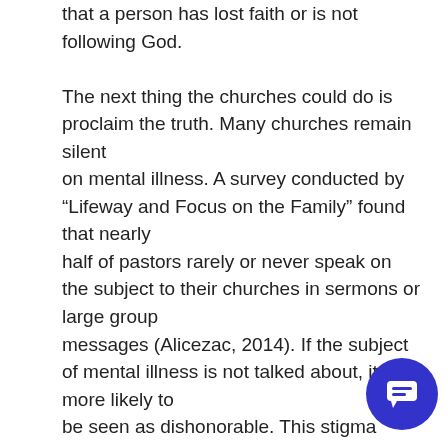that a person has lost faith or is not following God.

The next thing the churches could do is proclaim the truth. Many churches remain silent on mental illness. A survey conducted by "Lifeway and Focus on the Family" found that nearly half of pastors rarely or never speak on the subject to their churches in sermons or large group messages (Alicezac, 2014). If the subject of mental illness is not talked about, it is more likely to be seen as dishonorable. This stigma shame often prevents people from sharing their struggles.
[Figure (other): Blue circular chat/messaging button icon in bottom-right corner]